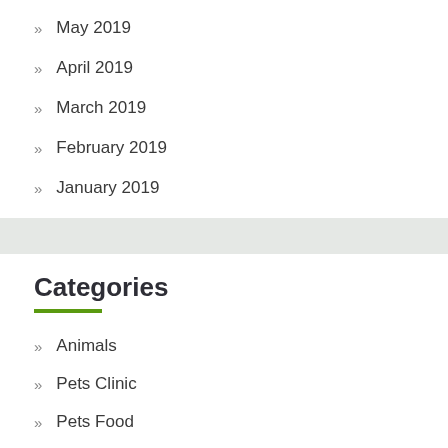May 2019
April 2019
March 2019
February 2019
January 2019
Categories
Animals
Pets Clinic
Pets Food